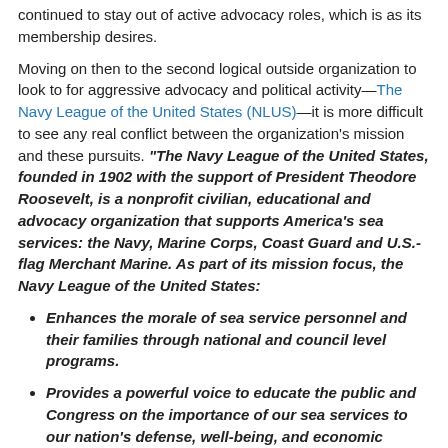continued to stay out of active advocacy roles, which is as its membership desires.
Moving on then to the second logical outside organization to look to for aggressive advocacy and political activity—The Navy League of the United States (NLUS)—it is more difficult to see any real conflict between the organization's mission and these pursuits. "The Navy League of the United States, founded in 1902 with the support of President Theodore Roosevelt, is a nonprofit civilian, educational and advocacy organization that supports America's sea services: the Navy, Marine Corps, Coast Guard and U.S.-flag Merchant Marine. As part of its mission focus, the Navy League of the United States:
Enhances the morale of sea service personnel and their families through national and council level programs.
Provides a powerful voice to educate the public and Congress on the importance of our sea services to our nation's defense, well-being, and economic prosperity.